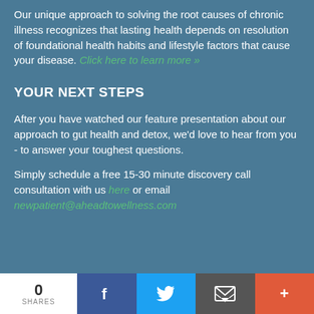Our unique approach to solving the root causes of chronic illness recognizes that lasting health depends on resolution of foundational health habits and lifestyle factors that cause your disease. Click here to learn more »
YOUR NEXT STEPS
After you have watched our feature presentation about our approach to gut health and detox, we'd love to hear from you - to answer your toughest questions.
Simply schedule a free 15-30 minute discovery call consultation with us here or email newpatient@aheadtowellness.com